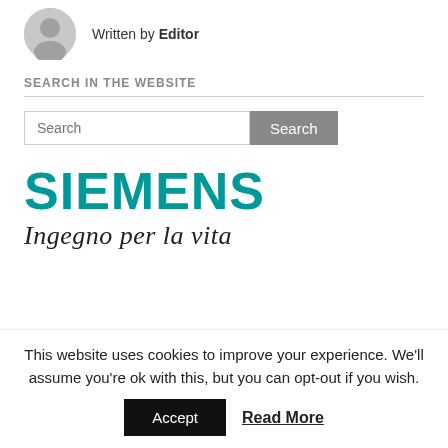Written by Editor
SEARCH IN THE WEBSITE
Search
[Figure (logo): Siemens logo with teal SIEMENS text and italic slogan 'Ingegno per la vita']
This website uses cookies to improve your experience. We'll assume you're ok with this, but you can opt-out if you wish.
Accept  Read More